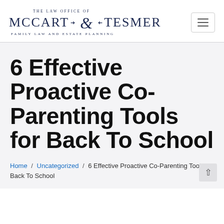THE LAW OFFICE OF MCCART & TESMER — FAMILY LAW AND ESTATE PLANNING
6 Effective Proactive Co-Parenting Tools for Back To School
Home / Uncategorized / 6 Effective Proactive Co-Parenting Tools for Back To School